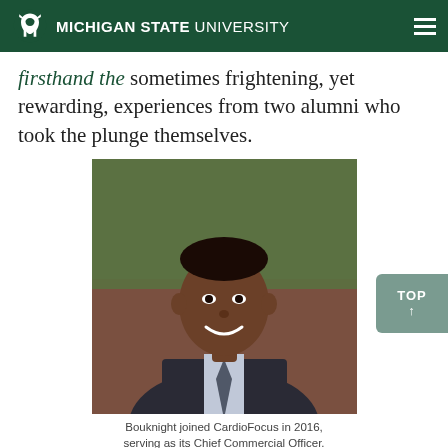MICHIGAN STATE UNIVERSITY
firsthand the sometimes frightening, yet rewarding, experiences from two alumni who took the plunge themselves.
[Figure (photo): Professional headshot of Omari Bouknight wearing a dark suit and tie, smiling, with a blurred outdoor background.]
Bouknight joined CardioFocus in 2016, serving as its Chief Commercial Officer.
Omari Bouknight (BA Supply Chain Management '99) and Jeff Rynbrandt (FTMBA '02), serve as chief operating officer and vice president of U.S. sales for